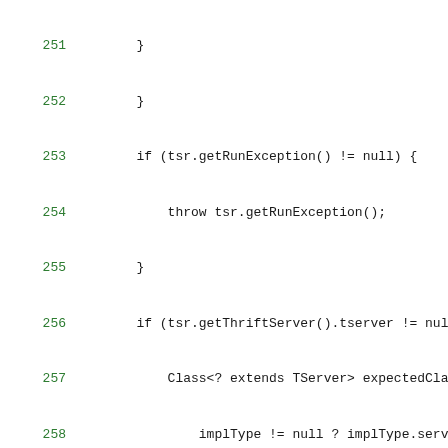Code listing lines 251-279, Java source code showing isBindException method and related code
251: }
252: }
253: if (tsr.getRunException() != null) {
254: throw tsr.getRunException();
255: }
256: if (tsr.getThriftServer().tserver != nul
257: Class<? extends TServer> expectedClass
258: implType != null ? implType.serverCl
259: assertEquals(expectedClass, tsr.getThr
260: }
261: return tsr;
262: }
263: 
264: private static boolean isBindException(Exce
265: if (cmdLineException == null) {
266: return false;
267: }
268: if (cmdLineException instanceof BindExce
269: return true;
270: }
271: if (
272: cmdLineException.getCause() != null &&
273: ) {
274: return true;
275: }
276: return false;
277: }
278: 
279: @Test